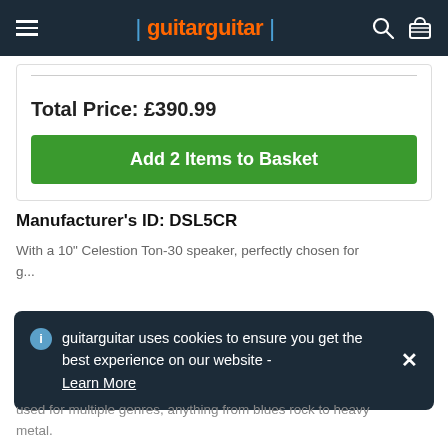guitarguitar
Total Price: £390.99
Add 2 Items to Basket
Manufacturer's ID: DSL5CR
With a 10" Celestion Ton-30 speaker, perfectly chosen for g... t... n... used for multiple genres, anything from blues rock to heavy metal.
guitarguitar uses cookies to ensure you get the best experience on our website - Learn More